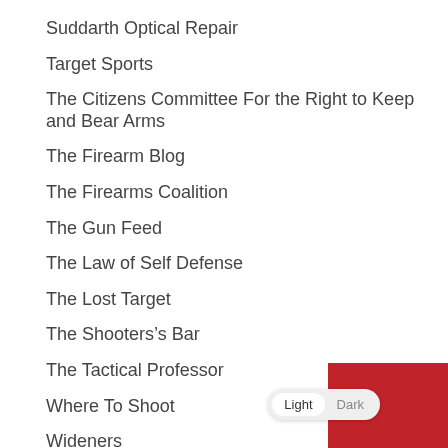Suddarth Optical Repair
Target Sports
The Citizens Committee For the Right to Keep and Bear Arms
The Firearm Blog
The Firearms Coalition
The Gun Feed
The Law of Self Defense
The Lost Target
The Shooters’s Bar
The Tactical Professor
Where To Shoot
Wideners
WikiA